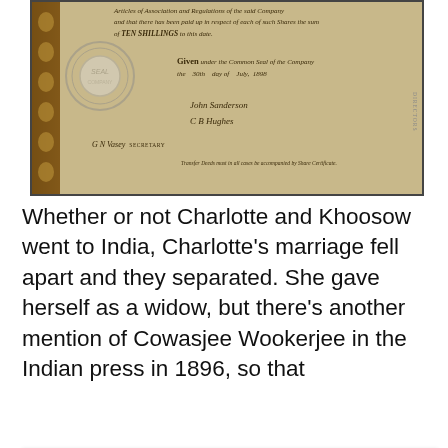[Figure (photo): Scanned historical share certificate document with ornamental left border, circular embossed seal, handwritten italic text including 'Articles of Association and Regulations of the said Company and that there has been paid up in respect of each of such Shares the sum of TEN SHILLINGS to this date. Given under the Common Seal of the Company the 30th day of July, 1898', signatures, and a secretary label.]
Whether or not Charlotte and Khoosow went to India, Charlotte's marriage fell apart and they separated. She gave herself as a widow, but there's another mention of Cowasjee Wookerjee in the Indian press in 1896, so that
Privacy & Cookies: This site uses cookies. By continuing to use this website, you agree to their use.
To find out more, including how to control cookies, see here: Cookie Policy
Close and accept